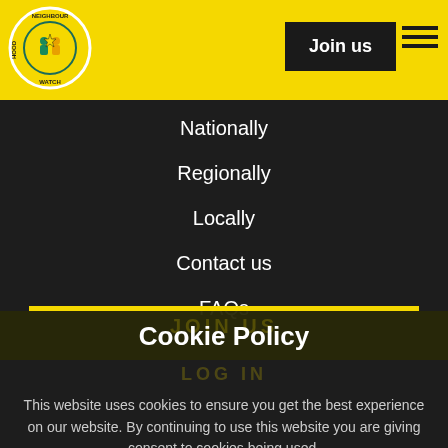Neighbourhood Watch – Join us
Nationally
Regionally
Locally
Contact us
FAQs
Cookie Policy
This website uses cookies to ensure you get the best experience on our website. By continuing to use this website you are giving consent to cookies being used.
ACCEPT   More information
© Copyright NWN. All Rights Reserved 2020. CIO No.